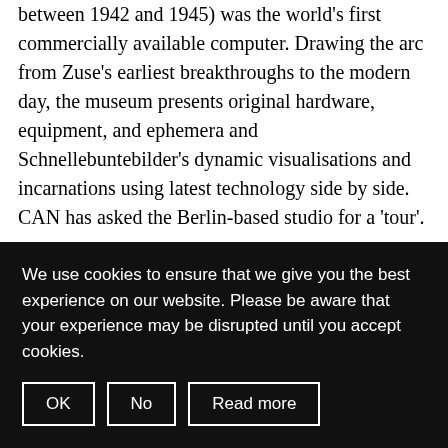between 1942 and 1945) was the world's first commercially available computer. Drawing the arc from Zuse's earliest breakthroughs to the modern day, the museum presents original hardware, equipment, and ephemera and Schnellebuntebilder's dynamic visualisations and incarnations using latest technology side by side. CAN has asked the Berlin-based studio for a 'tour'.
please confirm that youâ€™re a
We use cookies to ensure that we give you the best experience on our website. Please be aware that your experience may be disrupted until you accept cookies.
OK
No
Read more